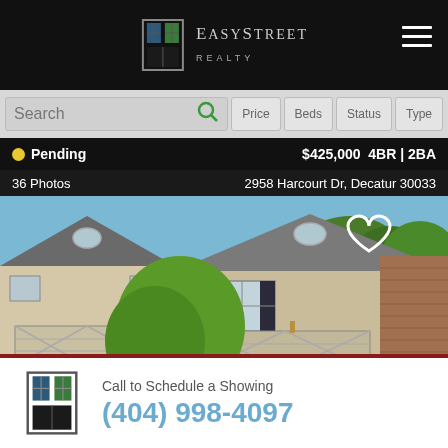[Figure (logo): EasyStreet Realty logo with door/window icon on black header bar]
Search | Price | Beds | Status | Type
Pending  $425,000  4BR | 2BA
36 Photos   2958 Harcourt Dr, Decatur 30033
[Figure (photo): Exterior photo of townhomes with brick and siding, green trees, two-car garages]
Home For Sale  $385,000  3BR | 2BA
27 Photos   2853 Jordan Oaks Ln, Decatur 30033
Call to Schedule a Showing
(404) 998-4097